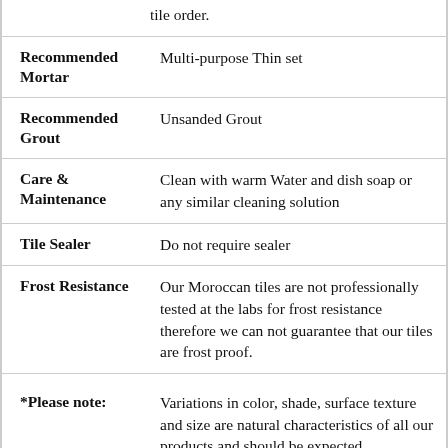tile order.
Recommended Mortar
Recommended Grout
Care & Maintenance
Tile Sealer
Frost Resistance
Variations in color, shade, surface texture and size are natural characteristics of all our products and should be expected
*Please note: